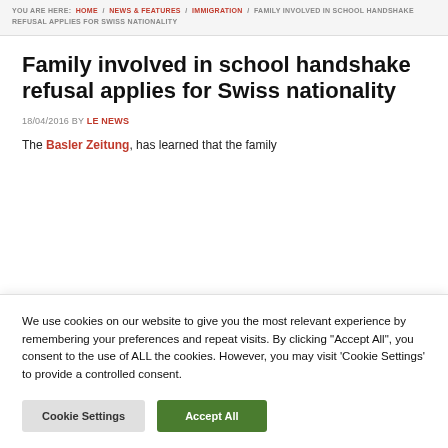YOU ARE HERE: HOME / NEWS & FEATURES / IMMIGRATION / FAMILY INVOLVED IN SCHOOL HANDSHAKE REFUSAL APPLIES FOR SWISS NATIONALITY
Family involved in school handshake refusal applies for Swiss nationality
18/04/2016 BY LE NEWS
The Basler Zeitung, has learned that the family
We use cookies on our website to give you the most relevant experience by remembering your preferences and repeat visits. By clicking "Accept All", you consent to the use of ALL the cookies. However, you may visit 'Cookie Settings' to provide a controlled consent.